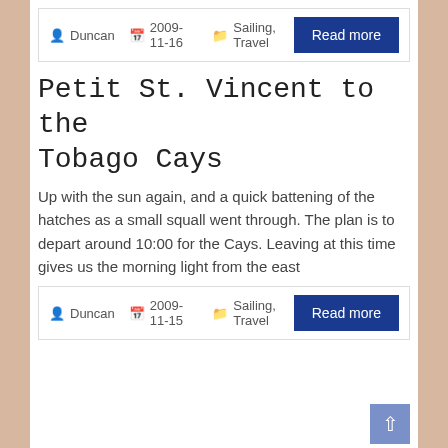Duncan  2009-11-16  Sailing, Travel
Read more
Petit St. Vincent to the Tobago Cays
Up with the sun again, and a quick battening of the hatches as a small squall went through. The plan is to depart around 10:00 for the Cays. Leaving at this time gives us the morning light from the east
Duncan  2009-11-15  Sailing, Travel
Read more